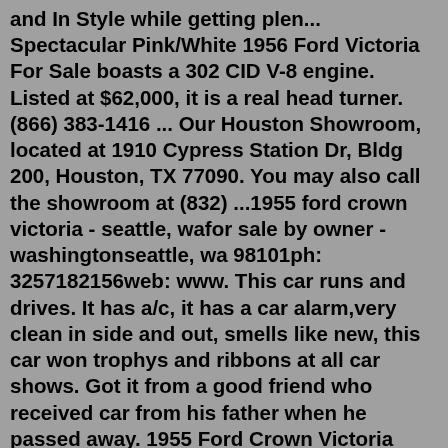and In Style while getting plen... Spectacular Pink/White 1956 Ford Victoria For Sale boasts a 302 CID V-8 engine. Listed at $62,000, it is a real head turner. (866) 383-1416 ... Our Houston Showroom, located at 1910 Cypress Station Dr, Bldg 200, Houston, TX 77090. You may also call the showroom at (832) ...1955 ford crown victoria - seattle, wafor sale by owner - washingtonseattle, wa 98101ph: 3257182156web: www. This car runs and drives. It has a/c, it has a car alarm,very clean in side and out, smells like new, this car won trophys and ribbons at all car shows. Got it from a good friend who received car from his father when he passed away. 1955 Ford Crown Victoria $5,495 1955 FORD CROWN VICTORIA RACE CAR V8 CHEVY ENGINE - Vehicle is on consignment and at our clients home - Please Call First and talk to a rep at 231-468-2809 EXT 1 -Showroom is by appointment ... Read More Classic Car Deals (844) 676-0714 Cadillac, MI 49601 (644 miles away) 6 1955 Ford Crown Victoria $75,995Find 1955 Ford Crown Victorias currently